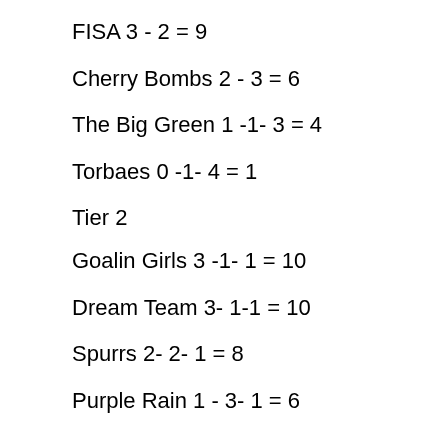FISA 3 - 2 = 9
Cherry Bombs 2 - 3 = 6
The Big Green 1 -1- 3 = 4
Torbaes 0 -1- 4 = 1
Tier 2
Goalin Girls 3 -1- 1 = 10
Dream Team 3- 1-1 = 10
Spurrs 2- 2- 1 = 8
Purple Rain 1 - 3- 1 = 6